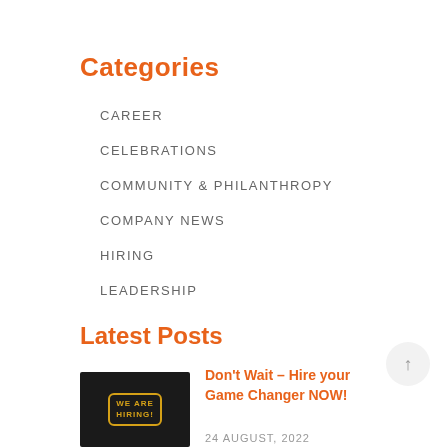Categories
CAREER
CELEBRATIONS
COMMUNITY & PHILANTHROPY
COMPANY NEWS
HIRING
LEADERSHIP
Latest Posts
[Figure (photo): Dark background image with neon-style speech bubble containing text WE ARE HIRING!]
Don’t Wait – Hire your Game Changer NOW!
24 AUGUST, 2022